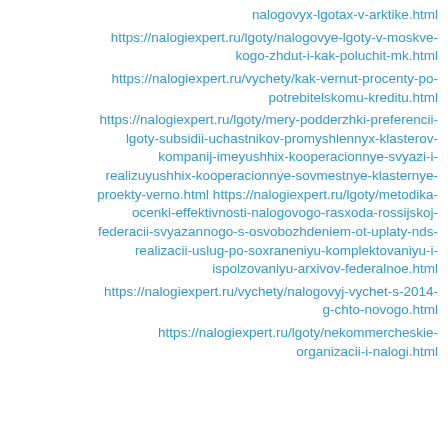nalogovyx-lgotax-v-arktike.html
https://nalogiexpert.ru/lgoty/nalogovye-lgoty-v-moskve-kogo-zhdut-i-kak-poluchit-mk.html
https://nalogiexpert.ru/vychety/kak-vernut-procenty-po-potrebitelskomu-kreditu.html
https://nalogiexpert.ru/lgoty/mery-podderzhki-preferencii-lgoty-subsidii-uchastnikov-promyshlennyx-klasterov-kompanij-imeyushhix-kooperacionnye-svyazi-i-realizuyushhix-kooperacionnye-sovmestnye-klasternye-proekty-verno.html https://nalogiexpert.ru/lgoty/metodika-ocenki-effektivnosti-nalogovogo-rasxoda-rossijskoj-federacii-svyazannogo-s-osvobozhdeniem-ot-uplaty-nds-realizacii-uslug-po-soxraneniyu-komplektovaniyu-i-ispolzovaniyu-arxivov-federalnoe.html
https://nalogiexpert.ru/vychety/nalogovyj-vychet-s-2014-g-chto-novogo.html
https://nalogiexpert.ru/lgoty/nekommercheskie-organizacii-i-nalogi.html